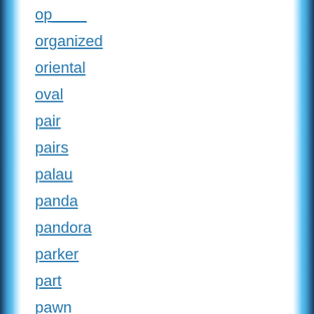organized
oriental
oval
pair
pairs
palau
panda
pandora
parker
part
pawn
people
perfect
periodic